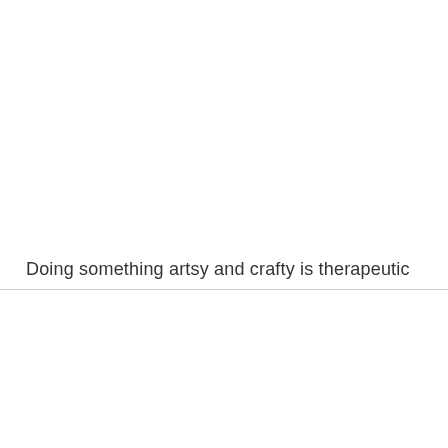Doing something artsy and crafty is therapeutic